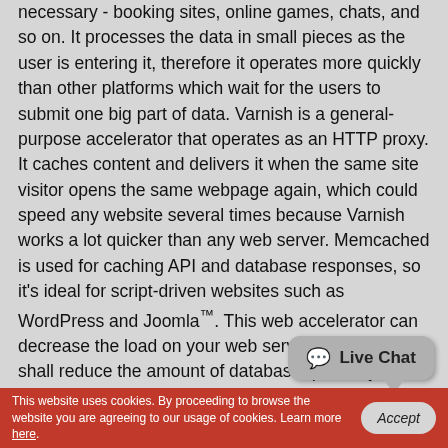necessary - booking sites, online games, chats, and so on. It processes the data in small pieces as the user is entering it, therefore it operates more quickly than other platforms which wait for the users to submit one big part of data. Varnish is a general-purpose accelerator that operates as an HTTP proxy. It caches content and delivers it when the same site visitor opens the same webpage again, which could speed any website several times because Varnish works a lot quicker than any web server. Memcached is used for caching API and database responses, so it's ideal for script-driven websites such as WordPress and Joomla™. This web accelerator can decrease the load on your web server because it shall reduce the amount of database queries your Internet sites make.
[Figure (other): Live Chat button/widget - a rounded rectangle with a speech bubble icon and the text 'Live Chat']
This website uses cookies. By proceeding to browse the website you are agreeing to our usage of cookies. Learn more here.